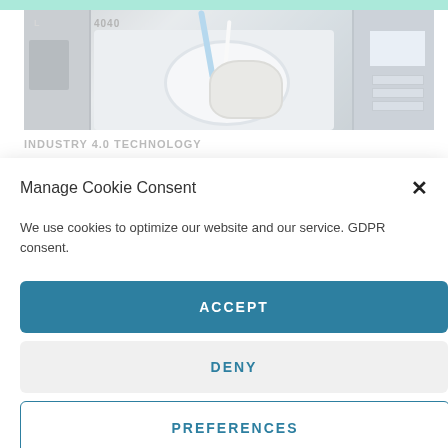[Figure (photo): Industrial CNC machines in a manufacturing facility, with a robotic arm or cable assembly in the foreground and machine control panels visible]
INDUSTRY 4.0 TECHNOLOGY
Manage Cookie Consent
We use cookies to optimize our website and our service. GDPR consent.
ACCEPT
DENY
PREFERENCES